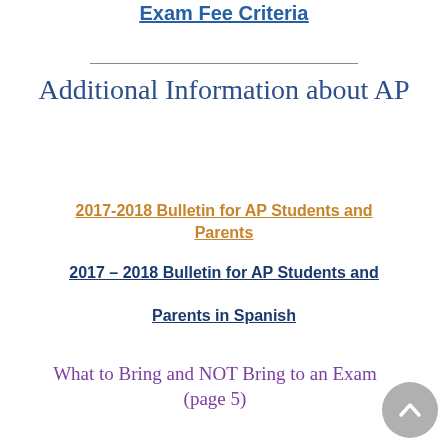Exam Fee Criteria
Additional Information about AP
2017-2018 Bulletin for AP Students and Parents
2017 – 2018 Bulletin for AP Students and Parents in Spanish
What to Bring and NOT Bring to an Exam (page 5)